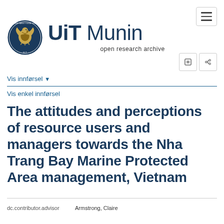[Figure (logo): UiT Norges Arktiske Universitet circular seal logo with eagle/emblem in dark blue, with text 'UiT Munin open research archive']
The attitudes and perceptions of resource users and managers towards the Nha Trang Bay Marine Protected Area management, Vietnam
Vis innførsel
Vis enkel innførsel
| dc.contributor.advisor | Armstrong, Claire |